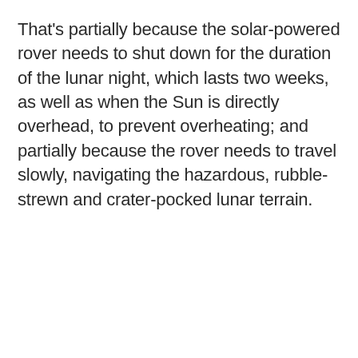That's partially because the solar-powered rover needs to shut down for the duration of the lunar night, which lasts two weeks, as well as when the Sun is directly overhead, to prevent overheating; and partially because the rover needs to travel slowly, navigating the hazardous, rubble-strewn and crater-pocked lunar terrain.